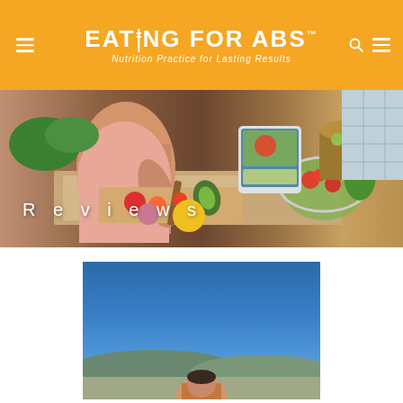EATING FOR ABS™ — Nutrition Practice for Lasting Results
[Figure (photo): Kitchen scene with person chopping vegetables on cutting board, surrounded by fresh produce including tomatoes, peppers, avocado, and greens, with a tablet showing food content in background]
Reviews
[Figure (photo): Outdoor photo with blue sky background, partial view of a person at the bottom of the frame]